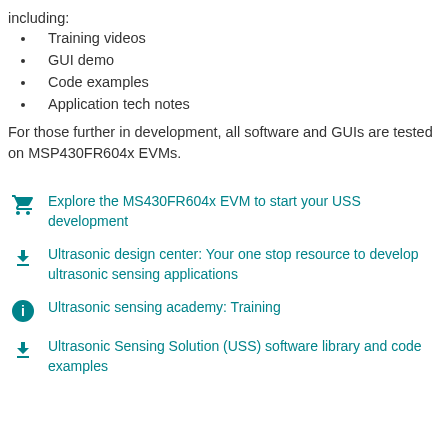including:
Training videos
GUI demo
Code examples
Application tech notes
For those further in development, all software and GUIs are tested on MSP430FR604x EVMs.
Explore the MS430FR604x EVM to start your USS development
Ultrasonic design center: Your one stop resource to develop ultrasonic sensing applications
Ultrasonic sensing academy: Training
Ultrasonic Sensing Solution (USS) software library and code examples